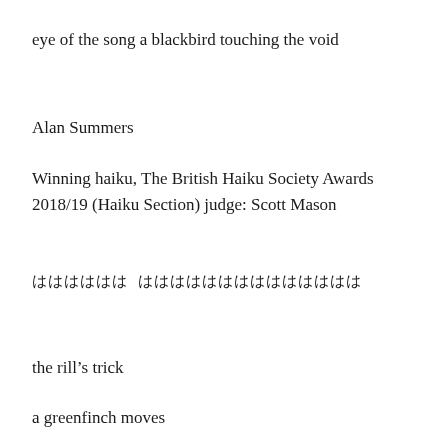eye of the song a blackbird touching the void
Alan Summers
Winning haiku, The British Haiku Society Awards 2018/19 (Haiku Section) judge: Scott Mason
ははははは ははははははははは
the rill's trick
a greenfinch moves